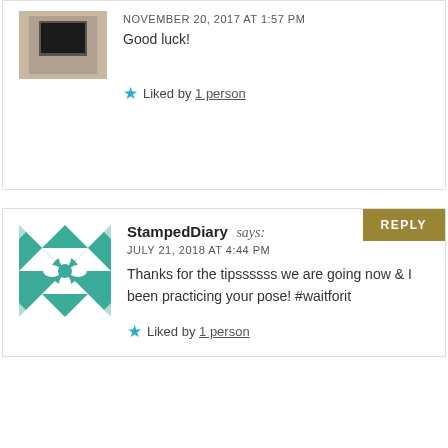NOVEMBER 20, 2017 AT 1:57 PM
Good luck!
Liked by 1 person
StampedDiary says:
JULY 21, 2018 AT 4:44 PM
Thanks for the tipssssss we are going now & I been practicing your pose! #waitforit
Liked by 1 person
PT Passages says:
AUGUST 1, 2018 AT 2:24 AM
Haha you're very welcome! Y'all's trip looked so fun 😍
Like